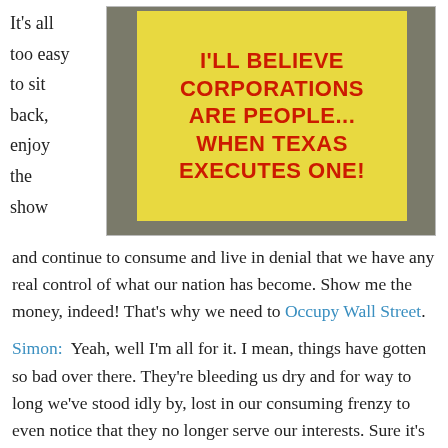It's all too easy to sit back, enjoy the show
[Figure (photo): Photo of a protest sign on a yellow background reading: I'LL BELIEVE CORPORATIONS ARE PEOPLE... WHEN TEXAS EXECUTES ONE!]
and continue to consume and live in denial that we have any real control of what our nation has become. Show me the money, indeed! That's why we need to Occupy Wall Street.
Simon:  Yeah, well I'm all for it. I mean, things have gotten so bad over there. They're bleeding us dry and for way to long we've stood idly by, lost in our consuming frenzy to even notice that they no longer serve our interests. Sure it's alway been about money, but I mean